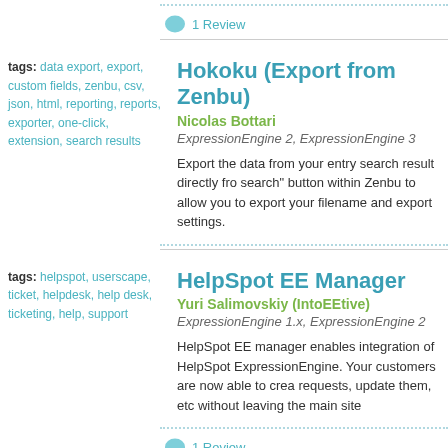[Figure (other): Speech bubble icon with '1 Review' link]
tags: data export, export, custom fields, zenbu, csv, json, html, reporting, reports, exporter, one-click, extension, search results
Hokoku (Export from Zenbu)
Nicolas Bottari
ExpressionEngine 2, ExpressionEngine 3
Export the data from your entry search result directly from search button within Zenbu to allow you to export your filename and export settings.
tags: helpspot, userscape, ticket, helpdesk, help desk, ticketing, help, support
HelpSpot EE Manager
Yuri Salimovskiy (IntoEEtive)
ExpressionEngine 1.x, ExpressionEngine 2
HelpSpot EE manager enables integration of HelpSpot ExpressionEngine. Your customers are now able to create requests, update them, etc without leaving the main site
[Figure (other): Speech bubble icon with '1 Review' link]